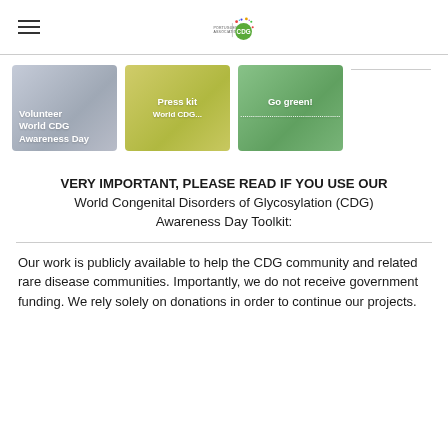Portuguese Association CDG (logo)
[Figure (screenshot): Three watercolor-style cards: 'Volunteer World CDG Awareness Day' (blue-grey), 'Press kit World CDG...' (yellow-green), 'Go green!' (green). A fourth placeholder line is partially visible on the right.]
VERY IMPORTANT, PLEASE READ IF YOU USE OUR World Congenital Disorders of Glycosylation (CDG) Awareness Day Toolkit:
Our work is publicly available to help the CDG community and related rare disease communities. Importantly, we do not receive government funding. We rely solely on donations in order to continue our projects.